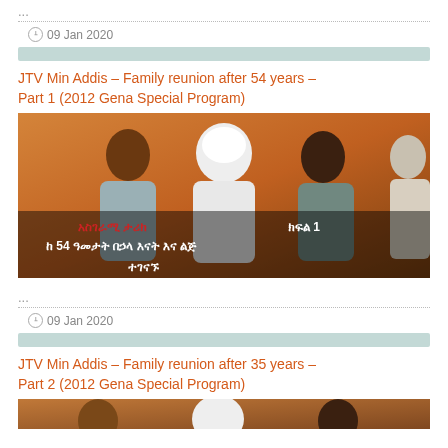...
09 Jan 2020
JTV Min Addis – Family reunion after 54 years – Part 1 (2012 Gena Special Program)
[Figure (photo): Video thumbnail showing three people seated, with Amharic text overlay describing a family reunion story after 54 years, Part 1]
...
09 Jan 2020
JTV Min Addis – Family reunion after 35 years – Part 2 (2012 Gena Special Program)
[Figure (photo): Partial video thumbnail for Part 2]